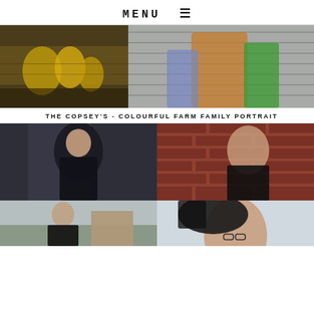MENU ☰
[Figure (photo): Close-up of golden/yellow decorative objects among dried twigs or straw]
[Figure (photo): Family portrait: woman in colorful floral dress and mustard cardigan holding two children against corrugated metal wall]
THE COPSEY'S - COLOURFUL FARM FAMILY PORTRAIT
[Figure (photo): Woman with dark hair and glasses in black top, alleyway background, moody portrait]
[Figure (photo): Woman with dark hair and glasses smiling, leaning against brick wall, wearing necklace and black top]
[Figure (photo): Woman in black top outdoors with building in background]
[Figure (photo): Woman with dark hair blowing, close-up portrait]